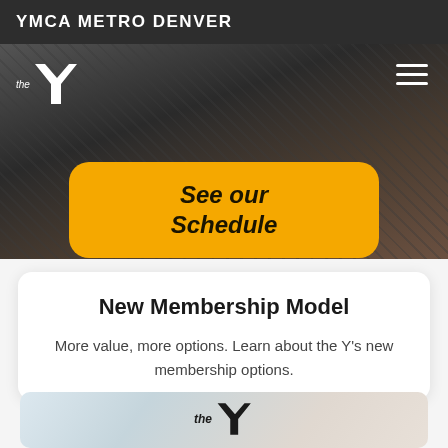YMCA METRO DENVER
[Figure (screenshot): YMCA Metro Denver website header with dark background, Y logo on left, hamburger menu on right, and a yellow rounded button reading 'See our Schedule' in bold italic text]
New Membership Model
More value, more options. Learn about the Y's new membership options.
[Figure (photo): Bottom partial image showing YMCA logo with 'the Y' text on a light blurred background]